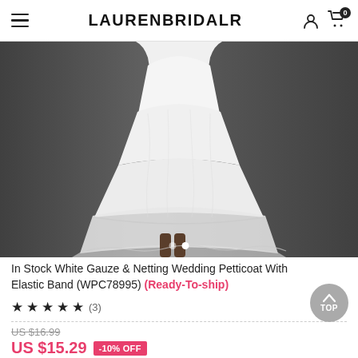LAURENBRIDAL
[Figure (photo): White gauze and netting wedding petticoat displayed on a mannequin against a dark gray background, showing layered tulle skirt with hoops]
In Stock White Gauze & Netting Wedding Petticoat With Elastic Band (WPC78995) (Ready-To-ship)
★★★★★ (3)
US $16.99 (strikethrough) US $15.29 -10% OFF